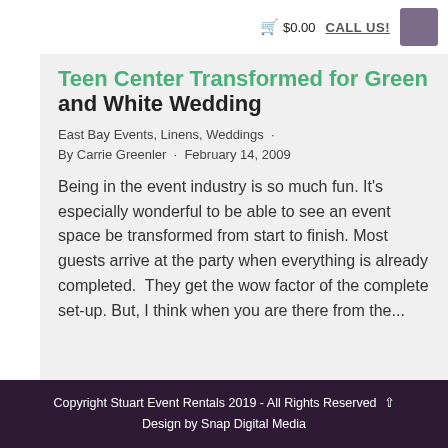🛒 $0.00   CALL US!
Teen Center Transformed for Green and White Wedding
East Bay Events, Linens, Weddings · By Carrie Greenler · February 14, 2009
Being in the event industry is so much fun. It's especially wonderful to be able to see an event space be transformed from start to finish. Most guests arrive at the party when everything is already completed.  They get the wow factor of the complete set-up. But, I think when you are there from the...
Copyright Stuart Event Rentals 2019 - All Rights Reserved
Design by Snap Digital Media